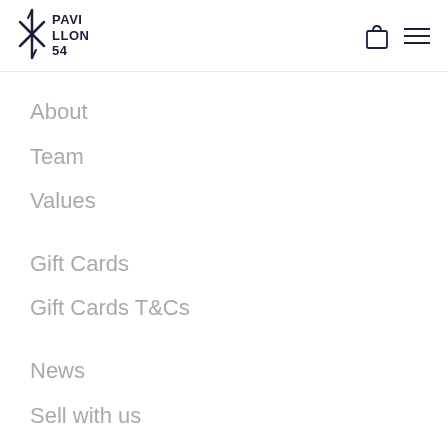PAVILLON 54
About
Team
Values
Gift Cards
Gift Cards T&Cs
News
Sell with us